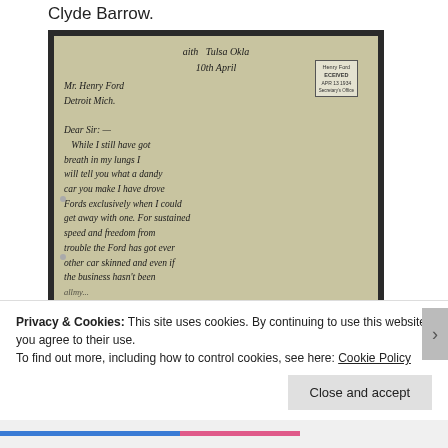Clyde Barrow.
[Figure (photo): A handwritten letter from Clyde Barrow addressed to Mr. Henry Ford, Detroit Mich. The letter begins: 'Dear Sir:- While I still have got breath in my lungs I will tell you what a dandy car you make I have drove Fords exclusively when I could get away with one. For sustained speed and freedom from trouble the Ford has got ever other car skinned and even if the business hasn't been...' A received stamp is visible in the upper right of the letter.]
Privacy & Cookies: This site uses cookies. By continuing to use this website, you agree to their use.
To find out more, including how to control cookies, see here: Cookie Policy
Close and accept